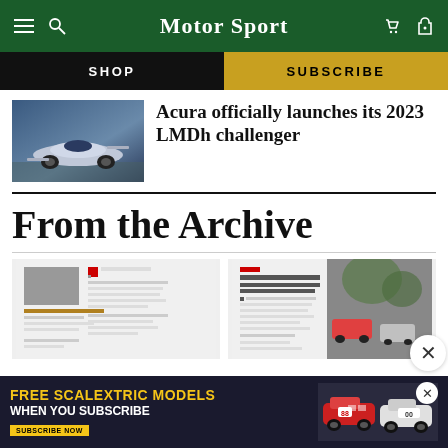MotorSport
SHOP
SUBSCRIBE
Acura officially launches its 2023 LMDh challenger
From the Archive
[Figure (screenshot): Archive magazine page left thumbnail]
[Figure (screenshot): Archive magazine page right thumbnail with street scene]
[Figure (infographic): Advertisement banner: FREE SCALEXTRIC MODELS WHEN YOU SUBSCRIBE]